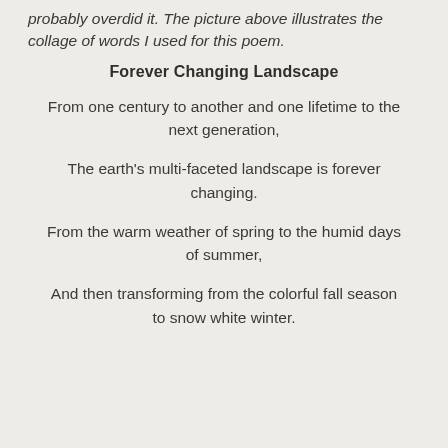probably overdid it. The picture above illustrates the collage of words I used for this poem.
Forever Changing Landscape
From one century to another and one lifetime to the next generation,
The earth's multi-faceted landscape is forever changing.
From the warm weather of spring to the humid days of summer,
And then transforming from the colorful fall season to snow white winter.